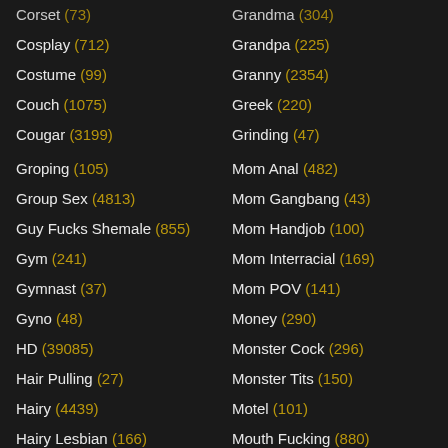Corset (73)
Grandma (304)
Cosplay (712)
Grandpa (225)
Costume (99)
Granny (2354)
Couch (1075)
Greek (220)
Cougar (3199)
Grinding (47)
Groping (105)
Mom Anal (482)
Group Sex (4813)
Mom Gangbang (43)
Guy Fucks Shemale (855)
Mom Handjob (100)
Gym (241)
Mom Interracial (169)
Gymnast (37)
Mom POV (141)
Gyno (48)
Money (290)
HD (39085)
Monster Cock (296)
Hair Pulling (27)
Monster Tits (150)
Hairy (4439)
Motel (101)
Hairy Lesbian (166)
Mouth Fucking (880)
Hairy Mature (121)
Mouthful (97)